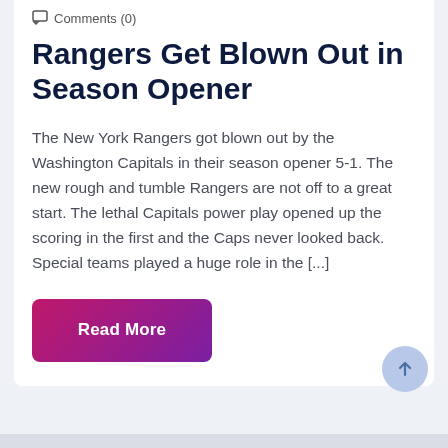Comments (0)
Rangers Get Blown Out in Season Opener
The New York Rangers got blown out by the Washington Capitals in their season opener 5-1. The new rough and tumble Rangers are not off to a great start. The lethal Capitals power play opened up the scoring in the first and the Caps never looked back. Special teams played a huge role in the [...]
Read More